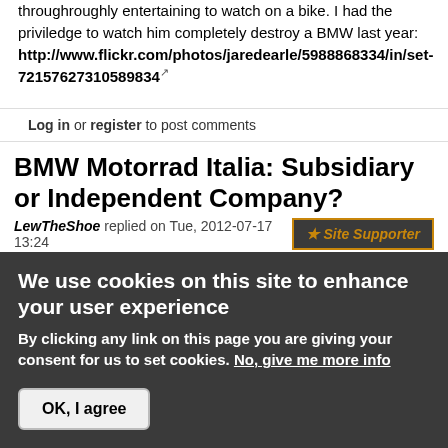throughroughly entertaining to watch on a bike. I had the priviledge to watch him completely destroy a BMW last year: http://www.flickr.com/photos/jaredearle/5988868334/in/set-72157627310589834
Log in or register to post comments
BMW Motorrad Italia: Subsidiary or Independent Company?
LewTheShoe replied on Tue, 2012-07-17 13:24   Site Supporter
Does anyone know if BMW Motorrad Italia is wholly-owned by BMW, or is an independent company? I'm not
We use cookies on this site to enhance your user experience
By clicking any link on this page you are giving your consent for us to set cookies. No, give me more info
OK, I agree